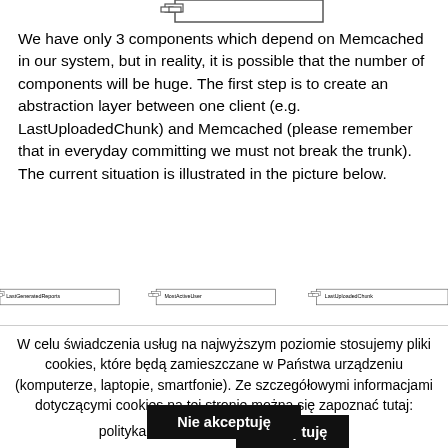[Figure (engineering-diagram): Top portion of a UML component diagram showing a component box at the top (partially visible)]
We have only 3 components which depend on Memcached in our system, but in reality, it is possible that the number of components will be huge. The first step is to create an abstraction layer between one client (e.g. LastUploadedChunk) and Memcached (please remember that in everyday committing we must not break the trunk). The current situation is illustrated in the picture below.
[Figure (engineering-diagram): UML component diagram row showing three components: LastGeneratedReports, MostActiveUser, and LastUploadedChunk (partially visible), each with UML component notation icons]
W celu świadczenia usług na najwyższym poziomie stosujemy pliki cookies, które będą zamieszczane w Państwa urządzeniu (komputerze, laptopie, smartfonie). Ze szczegółowymi informacjami dotyczącymi cookies na tej stronie można się zapoznać tutaj: polityka prywatności
Akceptuję
Nie akceptuję